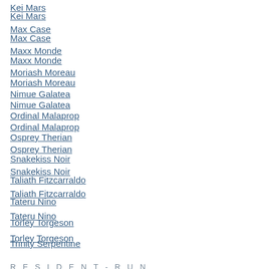Kei Mars
Max Case
Maxx Monde
Moriash Moreau
Nimue Galatea
Ordinal Malaprop
Osprey Therian
Snakekiss Noir
Taliath Fitzcarraldo
Tateru Nino
Torley Torgeson
Trinity Serpentine
Zero Grace
RESIDENT-RUN